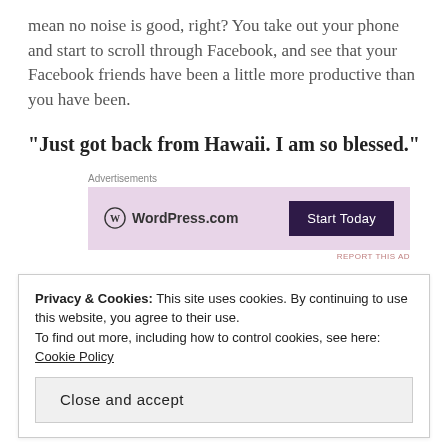mean no noise is good, right? You take out your phone and start to scroll through Facebook, and see that your Facebook friends have been a little more productive than you have been.
“Just got back from Hawaii. I am so blessed.”
[Figure (screenshot): Advertisement banner for WordPress.com with pink background, WordPress logo on the left and a dark purple 'Start Today' button on the right. 'Advertisements' label above and 'REPORT THIS AD' link below.]
So next I see that the next line will be experienced with...
Privacy & Cookies: This site uses cookies. By continuing to use this website, you agree to their use.
To find out more, including how to control cookies, see here: Cookie Policy